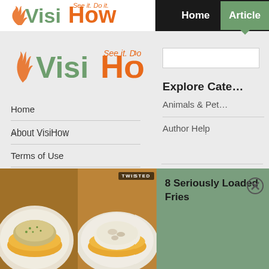[Figure (logo): VisiHow logo in top navigation bar with 'See it. Do it.' tagline, green Visi and orange How text]
Home   Articles
[Figure (logo): VisiHow logo in main content area with 'See it. Do it.' tagline]
Home
About VisiHow
Terms of Use
Explore Cate…
Animals & Pet…
Author Help
Gaming
Health & Well…
[Figure (photo): Advertisement banner showing two plates of loaded fries with creamy toppings, orange background, TWISTED badge on right image]
8 Seriously Loaded Fries